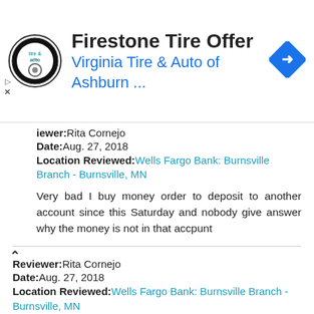[Figure (screenshot): Advertisement banner for Firestone Tire Offer by Virginia Tire & Auto of Ashburn with logo and navigation arrow icon]
Reviewer: Rita Cornejo
Date: Aug. 27, 2018
Location Reviewed: Wells Fargo Bank: Burnsville Branch - Burnsville, MN

Very bad I buy money order to deposit to another account since this Saturday and nobody give answer why the money is not in that accpunt
Reviewer: Rita Cornejo
Date: Aug. 27, 2018
Location Reviewed: Wells Fargo Bank: Burnsville Branch - Burnsville, MN

Very bad I buy money order to deposit to another account since this Saturday and nobody give answer why the money is not in that accpunt